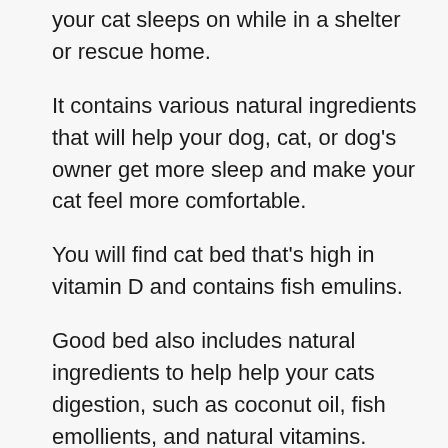your cat sleeps on while in a shelter or rescue home.
It contains various natural ingredients that will help your dog, cat, or dog’s owner get more sleep and make your cat feel more comfortable.
You will find cat bed that’s high in vitamin D and contains fish emulins.
Good bed also includes natural ingredients to help help your cats digestion, such as coconut oil, fish emollients, and natural vitamins.
Good pet litter also contains vitamins and